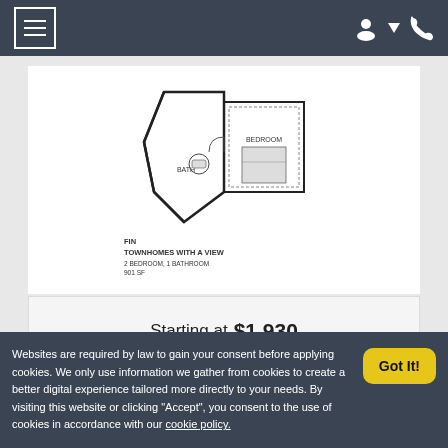Navigation bar with hamburger menu, user icon, and phone icon
[Figure (engineering-diagram): Floor plan diagram for FIN Townhomes With A View, 2 Bedroom, 1 Bathroom, showing angled walls, bath, and bedroom layout]
FIN
TOWNHOMES WITH A VIEW
2 BEDROOM, 1 BATHROOM
901 SF
Starting at $1,930
Websites are required by law to gain your consent before applying cookies. We only use information we gather from cookies to create a better digital experience tailored more directly to your needs. By visiting this website or clicking "Accept", you consent to the use of cookies in accordance with our cookie policy.